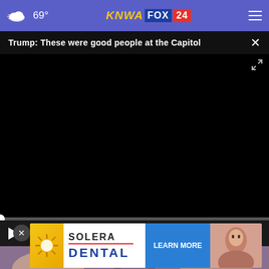69° KNWA FOX 24
Trump: These were good people at the Capitol
[Figure (screenshot): Black video player area with progress bar at bottom showing 00:00 timestamp and playback controls (play, mute, fullscreen)]
[Figure (photo): Partial photo visible at bottom of page showing a person in medical/dental context]
[Figure (other): Solera Dental advertisement banner with sun logo, SOLERA heading, DENTAL in blue bold text, and LEARN MORE blue button, with a woman's photo on the right]